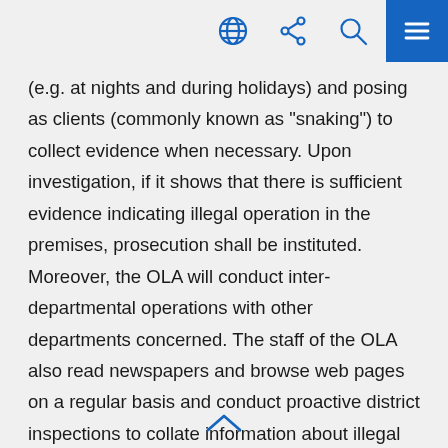[Navigation bar with globe, share, search, and menu icons]
(e.g. at nights and during holidays) and posing as clients (commonly known as "snaking") to collect evidence when necessary. Upon investigation, if it shows that there is sufficient evidence indicating illegal operation in the premises, prosecution shall be instituted. Moreover, the OLA will conduct inter-departmental operations with other departments concerned. The staff of the OLA also read newspapers and browse web pages on a regular basis and conduct proactive district inspections to collate information about illegal operation of guesthouses and bedspace apartments.
As regards the Sham Shui Po case in question, the staff of the OLA...